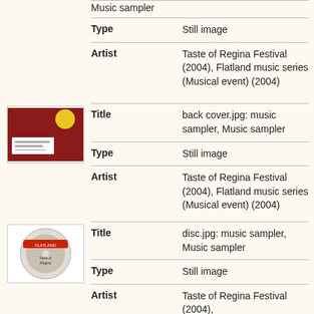Music sampler
| Field | Value |
| --- | --- |
| Type | Still image |
| Artist | Taste of Regina Festival (2004), Flatland music series (Musical event) (2004) |
[Figure (photo): Red back cover CD image thumbnail]
| Field | Value |
| --- | --- |
| Title | back cover.jpg: music sampler, Music sampler |
| Type | Still image |
| Artist | Taste of Regina Festival (2004), Flatland music series (Musical event) (2004) |
[Figure (photo): Flatland disc CD image thumbnail]
| Field | Value |
| --- | --- |
| Title | disc.jpg: music sampler, Music sampler |
| Type | Still image |
| Artist | Taste of Regina Festival (2004), |